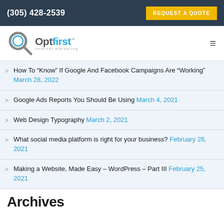(305) 428-2539 | REQUEST A QUOTE
[Figure (logo): OptFirst Internet Marketing logo with magnifying glass icon]
How To "Know" If Google And Facebook Campaigns Are "Working" March 28, 2022
Google Ads Reports You Should Be Using March 4, 2021
Web Design Typography March 2, 2021
What social media platform is right for your business? February 26, 2021
Making a Website, Made Easy – WordPress – Part III February 25, 2021
Archives